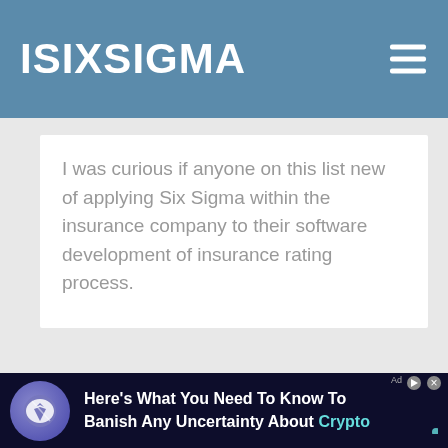ISIXSIGMA
I was curious if anyone on this list new of applying Six Sigma within the insurance company to their software development of insurance rating process.
[Figure (screenshot): Advertisement banner at the bottom: dark background with a circular logo icon and text 'Here's What You Need To Know To Banish Any Uncertainty About Crypto']